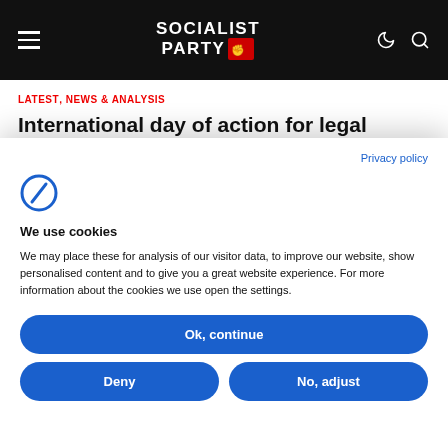Socialist Party
LATEST, NEWS & ANALYSIS
International day of action for legal abortion in Ireland
Privacy policy
[Figure (logo): Cookie consent logo — stylized C/F symbol in blue]
We use cookies
We may place these for analysis of our visitor data, to improve our website, show personalised content and to give you a great website experience. For more information about the cookies we use open the settings.
Ok, continue
Deny
No, adjust